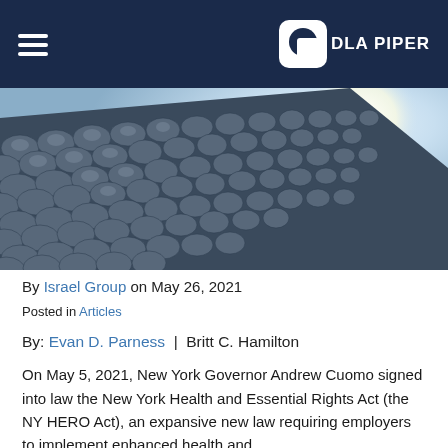DLA PIPER
[Figure (photo): Close-up architectural photo of a building facade covered with overlapping oval/scale-shaped metallic panels, with bright sky and sunlight visible in the upper right.]
By Israel Group on May 26, 2021
Posted in Articles
By: Evan D. Parness | Britt C. Hamilton
On May 5, 2021, New York Governor Andrew Cuomo signed into law the New York Health and Essential Rights Act (the NY HERO Act), an expansive new law requiring employers to implement enhanced health and